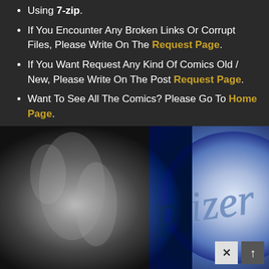Using 7-zip.
If You Encounter Any Broken Links Or Corrupt Files, Please Write On The Request Page.
If You Want Request Any Kind Of Comics Old / New, Please Write On The Post Request Page.
Want To See All The Comics? Please Go To Home Page.
[Figure (photo): A composite image showing a black-and-white photo of a muscular male torso on the left, and a close-up of a blue Pfizer pill/tablet with embossed 'pfizer' text on the right.]